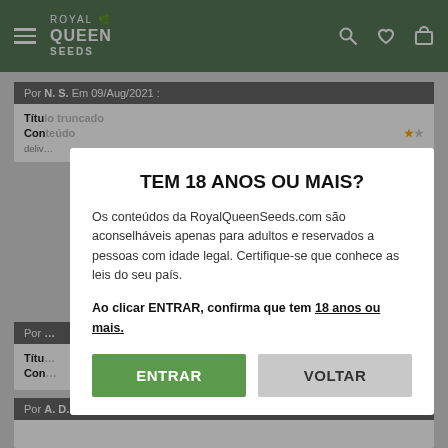Royal Queen Seeds
Por N. S. Em 09/Aug/2021 :
TEM 18 ANOS OU MAIS?
Os conteúdos da RoyalQueenSeeds.com são aconselháveis apenas para adultos e reservados a pessoas com idade legal. Certifique-se que conhece as leis do seu país.
Ao clicar ENTRAR, confirma que tem 18 anos ou mais.
ENTRAR
VOLTAR
Por A. D. Em 27/Jul/2021 :